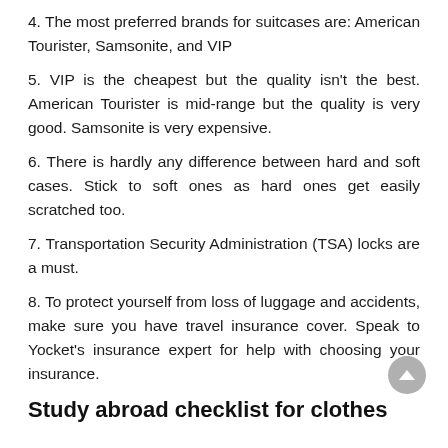4. The most preferred brands for suitcases are: American Tourister, Samsonite, and VIP
5. VIP is the cheapest but the quality isn't the best. American Tourister is mid-range but the quality is very good. Samsonite is very expensive.
6. There is hardly any difference between hard and soft cases. Stick to soft ones as hard ones get easily scratched too.
7. Transportation Security Administration (TSA) locks are a must.
8. To protect yourself from loss of luggage and accidents, make sure you have travel insurance cover. Speak to Yocket's insurance expert for help with choosing your insurance.
Study abroad checklist for clothes